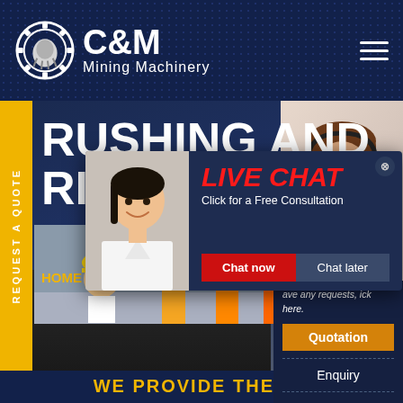[Figure (logo): C&M Mining Machinery logo with gear/claw icon in white on dark navy background with hamburger menu]
REQUEST A QUOTE
RUSHING AND RIN
HOME
[Figure (photo): Workers in yellow hard hats at mining site]
[Figure (photo): Customer service woman with headset smiling]
[Figure (screenshot): Live chat popup modal with worker image, LIVE CHAT heading, Chat now and Chat later buttons]
LIVE CHAT
Click for a Free Consultation
Chat now
Chat later
ave any requests, ick here.
Quotation
Enquiry
drobilkalm@gmail.com
WE PROVIDE THE BE...